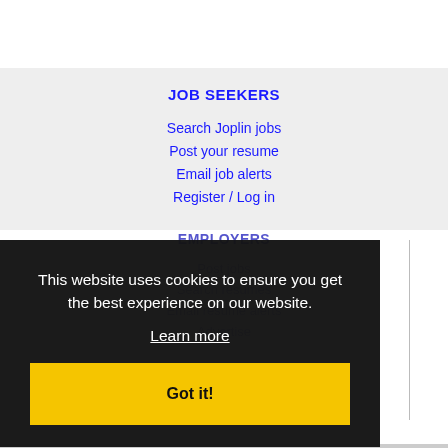JOB SEEKERS
Search Joplin jobs
Post your resume
Email job alerts
Register / Log in
EMPLOYERS
Post jobs
Search resumes
Email resume alerts
Advertise
This website uses cookies to ensure you get the best experience on our website.
Learn more
Got it!